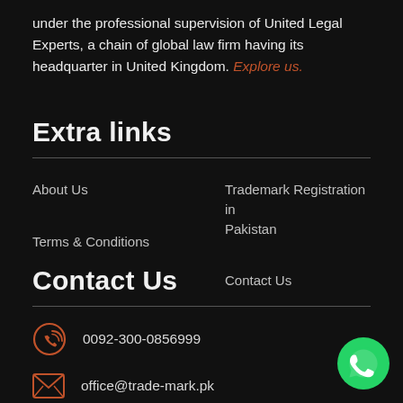under the professional supervision of United Legal Experts, a chain of global law firm having its headquarter in United Kingdom. Explore us.
Extra links
About Us
Trademark Registration in Pakistan
Terms & Conditions
Contact Us
Contact Us
0092-300-0856999
office@trade-mark.pk